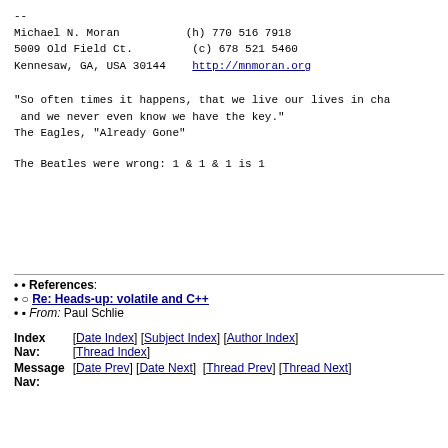--
Michael N. Moran          (h) 770 516 7918
5009 Old Field Ct.         (c) 678 521 5460
Kennesaw, GA, USA 30144    http://mnmoran.org
"So often times it happens, that we live our lives in cha
 and we never even know we have the key."
The Eagles, "Already Gone"
The Beatles were wrong: 1 & 1 & 1 is 1
References:
  Re: Heads-up: volatile and C++
    From: Paul Schlie
Index Nav:   [Date Index] [Subject Index] [Author Index] [Thread Index]
Message Nav: [Date Prev] [Date Next]  [Thread Prev] [Thread Next]